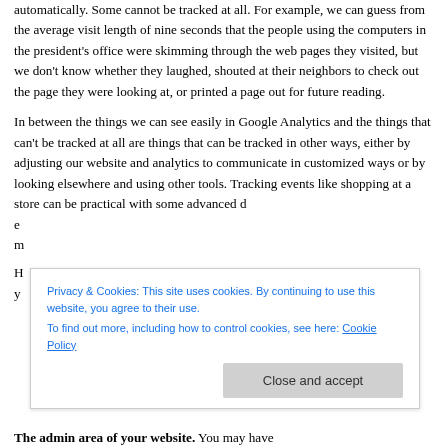automatically. Some cannot be tracked at all. For example, we can guess from the average visit length of nine seconds that the people using the computers in the president's office were skimming through the web pages they visited, but we don't know whether they laughed, shouted at their neighbors to check out the page they were looking at, or printed a page out for future reading.
In between the things we can see easily in Google Analytics and the things that can't be tracked at all are things that can be tracked in other ways, either by adjusting our website and analytics to communicate in customized ways or by looking elsewhere and using other tools. Tracking events like shopping at a store can be practical with some advanced d... e... m...
H... y...
[Figure (other): Cookie consent banner overlay with text: 'Privacy & Cookies: This site uses cookies. By continuing to use this website, you agree to their use. To find out more, including how to control cookies, see here: Cookie Policy' and a 'Close and accept' button.]
The admin area of your website. You may have...